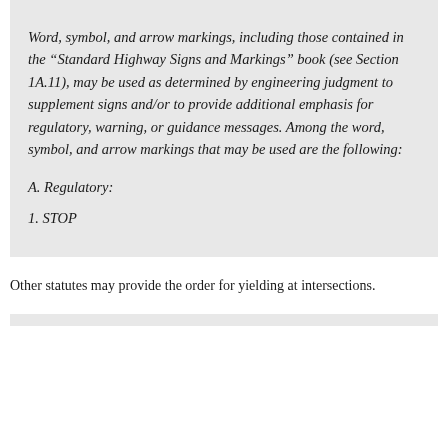Word, symbol, and arrow markings, including those contained in the "Standard Highway Signs and Markings" book (see Section 1A.11), may be used as determined by engineering judgment to supplement signs and/or to provide additional emphasis for regulatory, warning, or guidance messages. Among the word, symbol, and arrow markings that may be used are the following:
A. Regulatory:
1. STOP
Other statutes may provide the order for yielding at intersections.